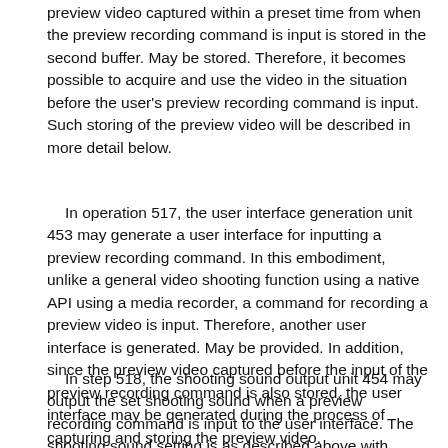preview video captured within a preset time from when the preview recording command is input is stored in the second buffer. May be stored. Therefore, it becomes possible to acquire and use the video in the situation before the user's preview recording command is input. Such storing of the preview video will be described in more detail below.
In operation 517, the user interface generation unit 453 may generate a user interface for inputting a preview recording command. In this embodiment, unlike a general video shooting function using a native API using a media recorder, a command for recording a preview video is input. Therefore, another user interface is generated. May be provided. In addition, since the preview video captured before the input of the preview recording command is also stored, the user interface may be generated during the process of capturing and storing the preview video.
In step 518, the shooting sound output unit 454 may output the set shooting sound when a preview recording command is input to the user interface. The shooting sound setting is as described above with reference to step